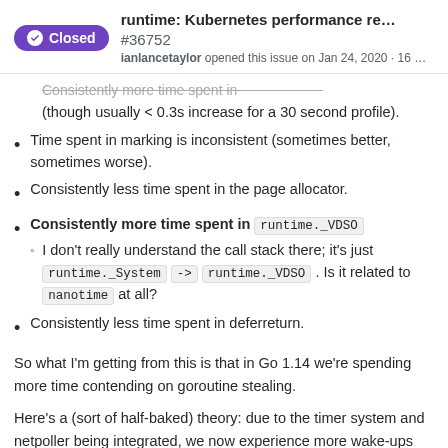runtime: Kubernetes performance re... #36752 ianlancetaylor opened this issue on Jan 24, 2020 · 16 ...
Consistently more time spent in (though usually < 0.3s increase for a 30 second profile).
Time spent in marking is inconsistent (sometimes better, sometimes worse).
Consistently less time spent in the page allocator.
Consistently more time spent in runtime._VDSO
I don't really understand the call stack there; it's just runtime._System -> runtime._VDSO . Is it related to nanotime at all?
Consistently less time spent in deferreturn.
So what I'm getting from this is that in Go 1.14 we're spending more time contending on goroutine stealing.
Here's a (sort of half-baked) theory: due to the timer system and netpoller being integrated, we now experience more wake-ups when there isn't much work to do, and contend a lot in work-stealing (specifically in runNext stealing; meaning most of the other Ps don't have a lot of work). All of this just